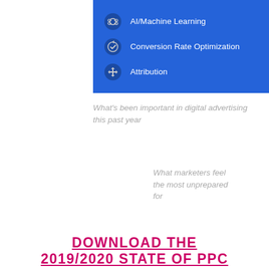[Figure (infographic): Blue panel with icons and labels: AI/Machine Learning, Conversion Rate Optimization, Attribution]
What's been important in digital advertising this past year
What marketers feel the most unprepared for
DOWNLOAD THE 2019/2020 STATE OF PPC